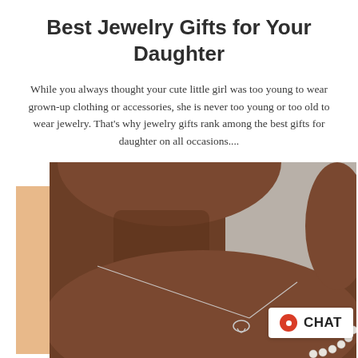Best Jewelry Gifts for Your Daughter
While you always thought your cute little girl was too young to wear grown-up clothing or accessories, she is never too young or too old to wear jewelry. That's why jewelry gifts rank among the best gifts for daughter on all occasions....
[Figure (photo): Close-up photo of a dark-skinned person wearing a silver knot necklace and a pearl bracelet, with a peach/tan decorative rectangle in the background. A white chat badge with a red circle icon and the word CHAT appears in the lower right corner of the image.]